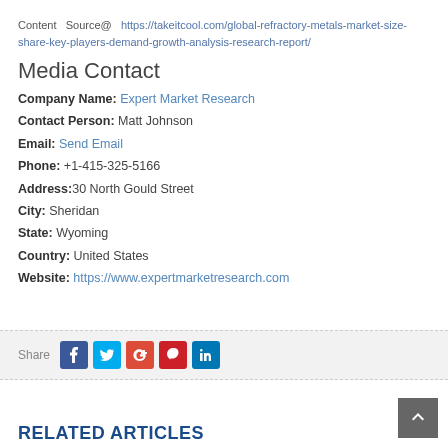Content   Source@   https://takeitcool.com/global-refractory-metals-market-size-share-key-players-demand-growth-analysis-research-report/
Media Contact
Company Name: Expert Market Research
Contact Person: Matt Johnson
Email: Send Email
Phone: +1-415-325-5166
Address:30 North Gould Street
City: Sheridan
State: Wyoming
Country: United States
Website: https://www.expertmarketresearch.com
Share
RELATED ARTICLES